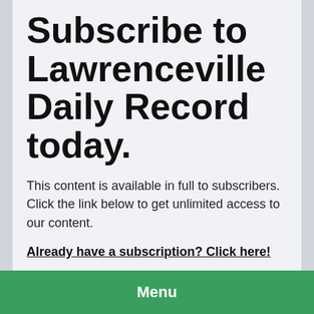Subscribe to Lawrenceville Daily Record today.
This content is available in full to subscribers. Click the link below to get unlimited access to our content.
Already have a subscription? Click here!
Subscribe
Login
Menu